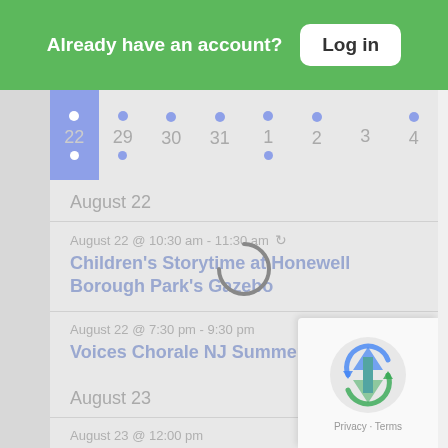Already have an account? Log in
[Figure (screenshot): Calendar strip showing dates 29, 30, 31, 1, 2, 3, 4 with dot indicators. Date column for current day (22) is highlighted in blue/purple.]
August 22
August 22 @ 10:30 am - 11:30 am
Children's Storytime at Honewell Borough Park's Gazebo
August 22 @ 7:30 pm - 9:30 pm
Voices Chorale NJ Summer Open Sing
August 23
August 23 @ 12:00 pm
Sodium in Your Diet (virtual)
August 23 @ 7:00 pm - 9:00 pm